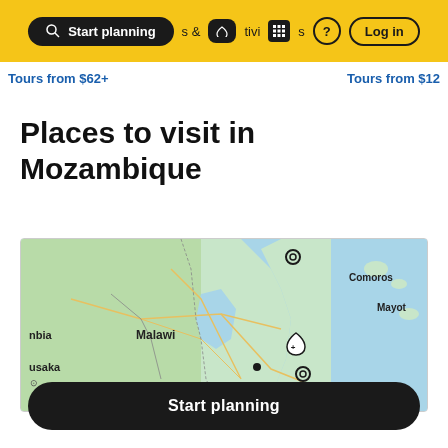Start planning | Tours & Activities | ? | Log in
Tours from $62+ | Tours from $12
Places to visit in Mozambique
[Figure (map): Map showing Mozambique and surrounding region including Malawi, Comoros, Mayotte, Lusaka, and coast along Indian Ocean with location pins]
Start planning